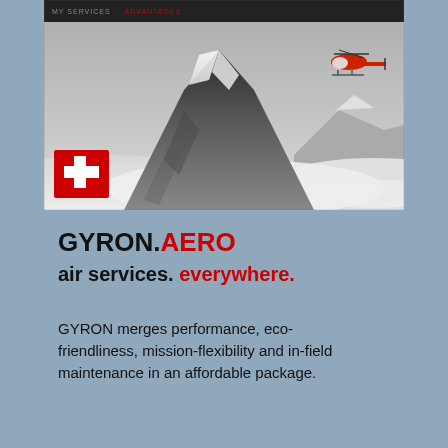[Figure (photo): Black and white aerial photograph of the Matterhorn mountain peak surrounded by clouds, with a red and white helicopter in the upper right. A Swiss flag (red with white cross) is overlaid in the lower left of the photo.]
GYRON.AERO
air services. everywhere.
GYRON merges performance, eco-friendliness, mission-flexibility and in-field maintenance in an affordable package.